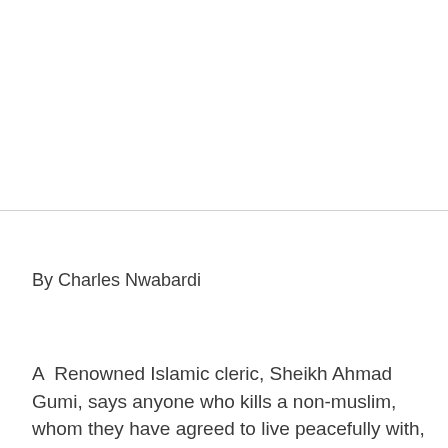By Charles Nwabardi
A  Renowned Islamic cleric, Sheikh Ahmad Gumi, says anyone who kills a non-muslim, whom they have agreed to live peacefully with, will not smell the